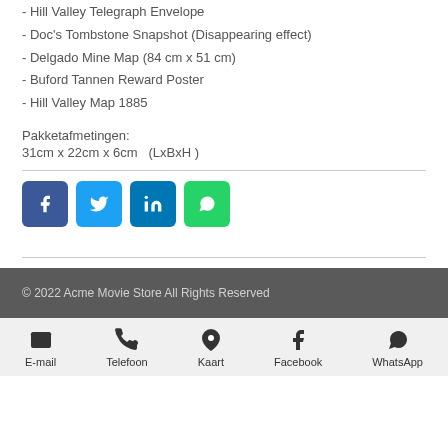- Hill Valley Telegraph Envelope
- Doc's Tombstone Snapshot (Disappearing effect)
- Delgado Mine Map (84 cm x 51 cm)
- Buford Tannen Reward Poster
- Hill Valley Map 1885
Pakketafmetingen:
31cm x 22cm x 6cm   (LxBxH )
[Figure (infographic): Social share buttons: Facebook (blue), Twitter (light blue), LinkedIn (dark blue), WhatsApp (green)]
© 2022 Acme Movie Store All Rights Reserved
E-mail | Telefoon | Kaart | Facebook | WhatsApp